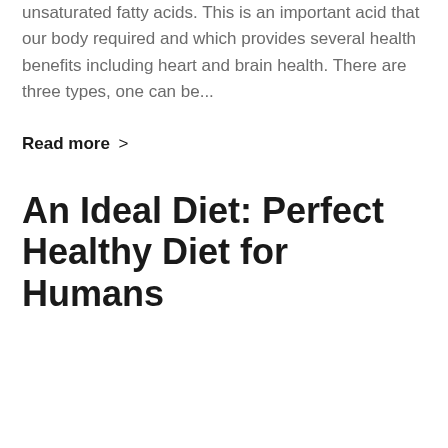unsaturated fatty acids. This is an important acid that our body required and which provides several health benefits including heart and brain health. There are three types, one can be...
Read more >
An Ideal Diet: Perfect Healthy Diet for Humans